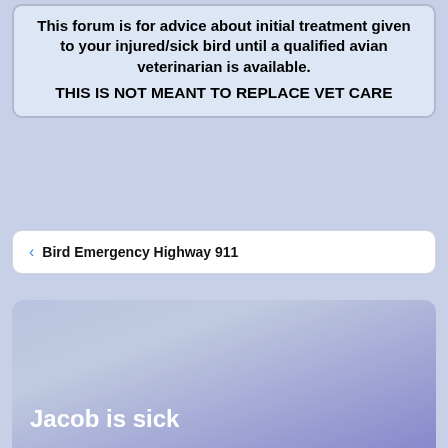This forum is for advice about initial treatment given to your injured/sick bird until a qualified avian veterinarian is available. THIS IS NOT MEANT TO REPLACE VET CARE
< Bird Emergency Highway 911
Jacob is sick